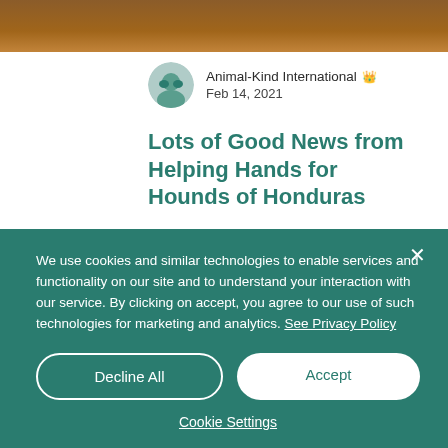[Figure (photo): Top portion of a webpage showing a brown/wooden textured banner image at the top]
Animal-Kind International 👑
Feb 14, 2021
Lots of Good News from Helping Hands for Hounds of Honduras
It's nice to write only good news for once, and HHHH has so much good
We use cookies and similar technologies to enable services and functionality on our site and to understand your interaction with our service. By clicking on accept, you agree to our use of such technologies for marketing and analytics. See Privacy Policy
Decline All
Accept
Cookie Settings